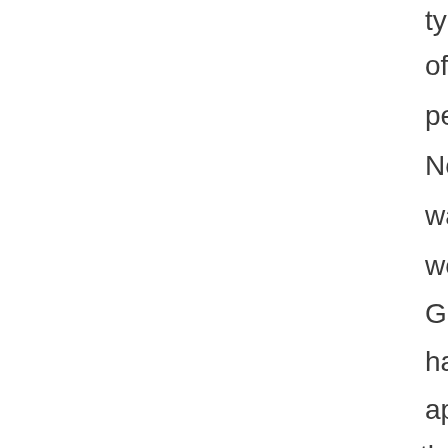typ
of
pe
No
wa
wo
Ga
ha
ap
the
se
yea
lon
Bill
dol
pe
yea
lov